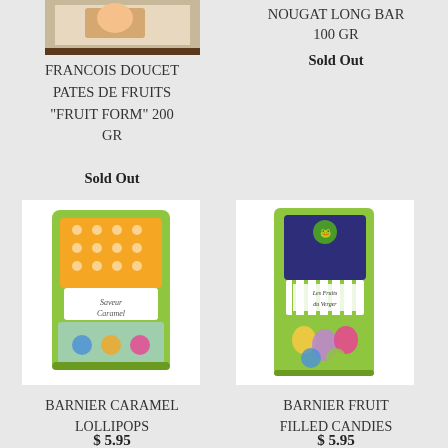[Figure (photo): Partial product image of Francois Doucet product at top left]
NOUGAT LONG BAR
100 GR
Sold Out
FRANCOIS DOUCET PATES DE FRUITS "FRUIT FORM" 200 GR
Sold Out
[Figure (photo): Barnier Caramel Lollipops product bag with green packaging and orange polka dot label]
BARNIER CARAMEL LOLLIPOPS
$ 5.95
[Figure (photo): Barnier Fruit Filled Candies product bag with green and white striped packaging]
BARNIER FRUIT FILLED CANDIES
$ 5.95